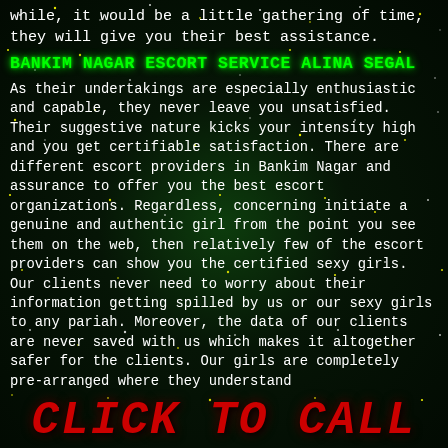while, it would be a little gathering of time, they will give you their best assistance.
BANKIM NAGAR ESCORT SERVICE ALINA SEGAL
As their undertakings are especially enthusiastic and capable, they never leave you unsatisfied. Their suggestive nature kicks your intensity high and you get certifiable satisfaction. There are different escort providers in Bankim Nagar and assurance to offer you the best escort organizations. Regardless, concerning initiate a genuine and authentic girl from the point you see them on the web, then relatively few of the escort providers can show you the certified sexy girls. Our clients never need to worry about their information getting spilled by us or our sexy girls to any pariah. Moreover, the data of our clients are never saved with us which makes it altogether safer for the clients. Our girls are completely pre-arranged where they understand
CLICK TO CALL